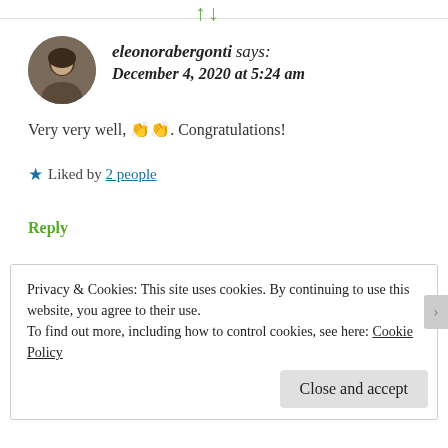eleonorabergonti says: December 4, 2020 at 5:24 am
Very very well, 👏👏. Congratulations!
★ Liked by 2 people
Reply
Privacy & Cookies: This site uses cookies. By continuing to use this website, you agree to their use. To find out more, including how to control cookies, see here: Cookie Policy
Close and accept